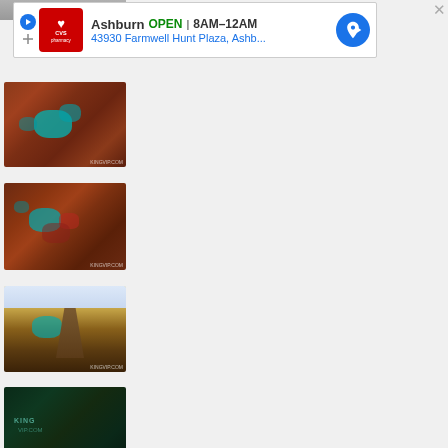[Figure (screenshot): CVS Pharmacy advertisement banner showing Ashburn location, OPEN 8AM-12AM, 43930 Farmwell Hunt Plaza, Ashb...]
[Figure (photo): Aerial view of reddish terrain with teal/green pools, partial view at top]
[Figure (photo): Aerial view of reddish terrain with teal/green pools, full view]
[Figure (photo): Aerial view of yellowish-brown landscape with teal pool and rock formation]
[Figure (photo): Dark green aerial/underwater view with text overlay]
[Figure (photo): Dark teal underwater scene showing a figure/creature]
[Figure (photo): Dark teal aerial or underwater scene, partially visible at bottom]